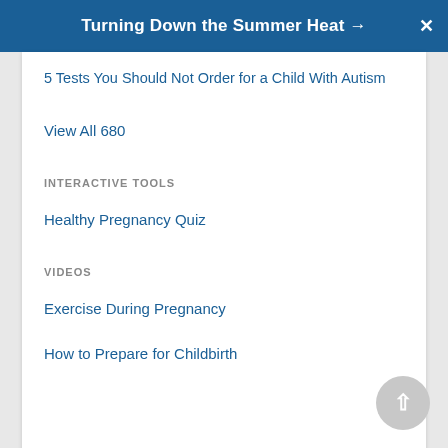Turning Down the Summer Heat →
5 Tests You Should Not Order for a Child With Autism
View All 680
INTERACTIVE TOOLS
Healthy Pregnancy Quiz
VIDEOS
Exercise During Pregnancy
How to Prepare for Childbirth